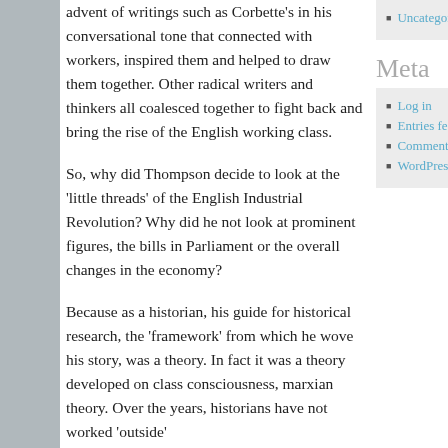advent of writings such as Corbette’s in his conversational tone that connected with workers, inspired them and helped to draw them together. Other radical writers and thinkers all coalesced together to fight back and bring the rise of the English working class.
So, why did Thompson decide to look at the ‘little threads’ of the English Industrial Revolution? Why did he not look at prominent figures, the bills in Parliament or the overall changes in the economy?
Because as a historian, his guide for historical research, the ‘framework’ from which he wove his story, was a theory. In fact it was a theory developed on class consciousness, marxian theory. Over the years, historians have not worked ‘outside’
Uncategorized
Meta
Log in
Entries feed
Comments feed
WordPress.org